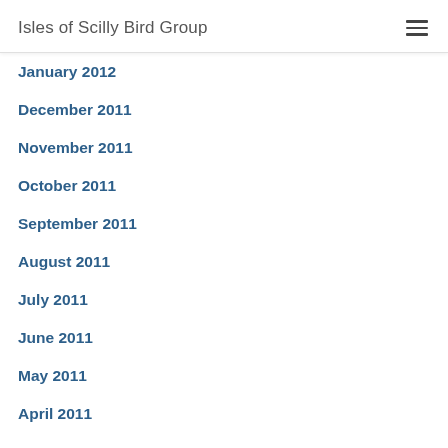Isles of Scilly Bird Group
January 2012
December 2011
November 2011
October 2011
September 2011
August 2011
July 2011
June 2011
May 2011
April 2011